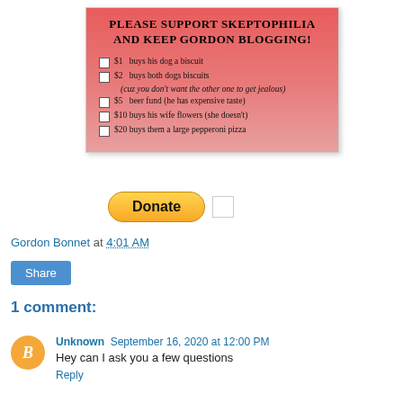[Figure (other): Donation widget for Skeptophilia blog with red gradient background, checkboxes for donation amounts ($1, $2, $5, $10, $20), and descriptions for each amount.]
[Figure (other): PayPal Donate button (yellow rounded rectangle) with a small white square checkbox next to it.]
Gordon Bonnet at 4:01 AM
Share
1 comment:
Unknown September 16, 2020 at 12:00 PM
Hey can I ask you a few questions
Reply